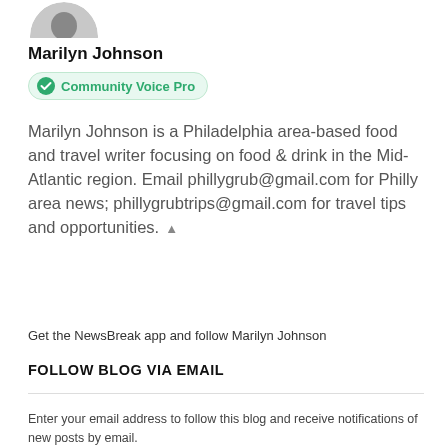[Figure (photo): Partial profile photo of Marilyn Johnson, showing top portion of a person's head/face cropped at the bottom]
Marilyn Johnson
Community Voice Pro
Marilyn Johnson is a Philadelphia area-based food and travel writer focusing on food & drink in the Mid-Atlantic region. Email phillygrub@gmail.com for Philly area news; phillygrubtrips@gmail.com for travel tips and opportunities.
Get the NewsBreak app and follow Marilyn Johnson
FOLLOW BLOG VIA EMAIL
Enter your email address to follow this blog and receive notifications of new posts by email.